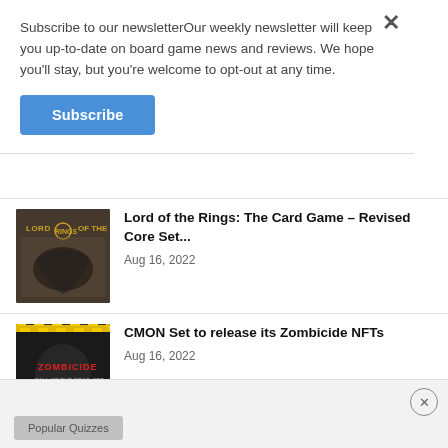Subscribe to our newsletterOur weekly newsletter will keep you up-to-date on board game news and reviews. We hope you'll stay, but you're welcome to opt-out at any time.
Subscribe
[Figure (photo): Lord of the Rings board game box art]
Lord of the Rings: The Card Game – Revised Core Set...
Aug 16, 2022
[Figure (photo): Zombicide board game box art]
CMON Set to release its Zombicide NFTs
Aug 16, 2022
Load more
Popular Quizzes